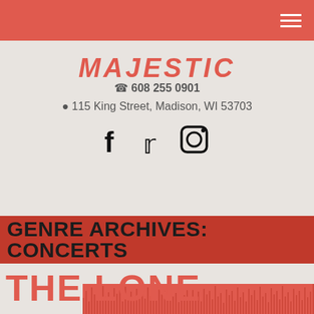Navigation bar with hamburger menu
MAJESTIC
608 255 0901
115 King Street, Madison, WI 53703
[Figure (illustration): Social media icons: Facebook, Twitter, Instagram]
GENRE ARCHIVES: CONCERTS
THE LONE